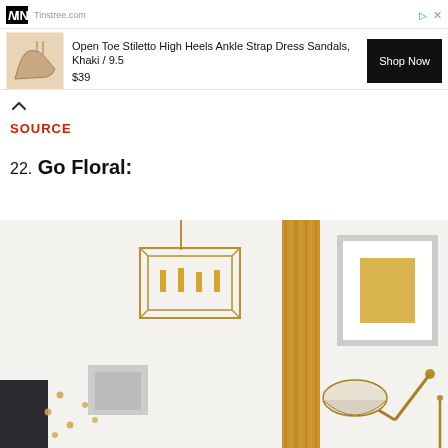[Figure (screenshot): Advertisement banner from Ninstree (Tinstree.com) showing 'Open Toe Stiletto High Heels Ankle Strap Dress Sandals, Khaki / 9.5' priced at $39 with a 'Shop Now' button and a photo of high-heel sandals on a model's feet.]
SOURCE
22. Go Floral:
[Figure (photo): Interior room photo showing gold/brass decor including a geometric chandelier, a tall ribbed golden column or floor lamp, a white framed artwork with gold square, a gold adjustable desk lamp, and scattered gold dot wall decals on a white background.]